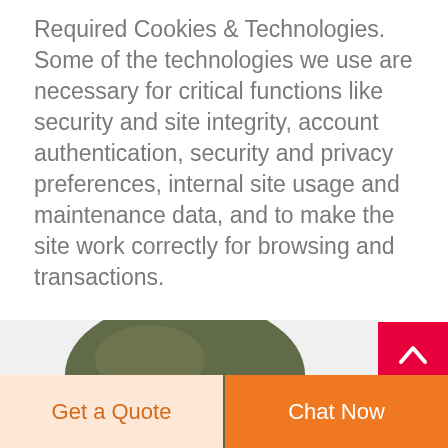Required Cookies & Technologies. Some of the technologies we use are necessary for critical functions like security and site integrity, account authentication, security and privacy preferences, internal site usage and maintenance data, and to make the site work correctly for browsing and transactions.
[Figure (photo): Partial view of an olive/dark green leather or vinyl bean bag chair against a light grey background, cropped at the bottom of the page.]
Get a Quote
Chat Now